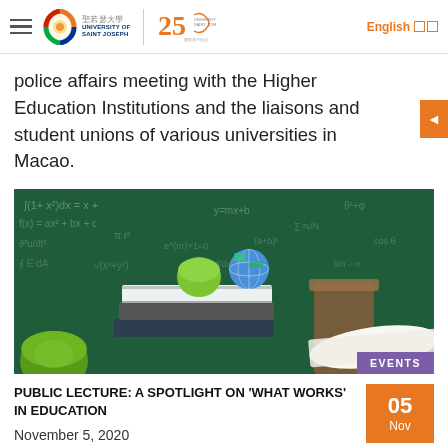University of Saint Joseph — 25th Anniversary
police affairs meeting with the Higher Education Institutions and the liaisons and student unions of various universities in Macao.
[Figure (photo): Classroom scene with stacked books, a green apple, and a globe on top, in front of a chalkboard covered in equations. An open book is on the right. Green apple on the left foreground.]
EVENTS
PUBLIC LECTURE: A SPOTLIGHT ON 'WHAT WORKS' IN EDUCATION
November 5, 2020